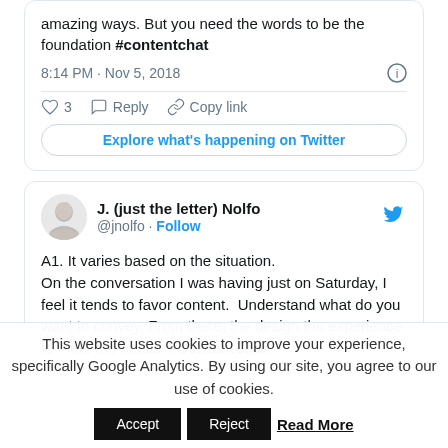amazing ways. But you need the words to be the foundation #contentchat
8:14 PM · Nov 5, 2018
♡ 3  Reply  Copy link
Explore what's happening on Twitter
J. (just the letter) Nolfo @jnolfo · Follow
A1. It varies based on the situation. On the conversation I was having just on Saturday, I feel it tends to favor content.  Understand what do you want to convey. From there, the design the experience to meet the needs. #ContentChat
This website uses cookies to improve your experience, specifically Google Analytics. By using our site, you agree to our use of cookies.
Accept  Reject  Read More